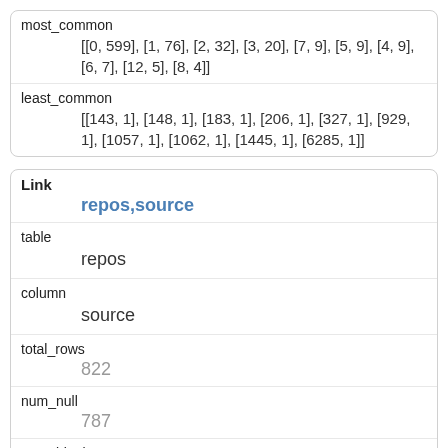| key | value |
| --- | --- |
| most_common | [[0, 599], [1, 76], [2, 32], [3, 20], [7, 9], [5, 9], [4, 9],
[6, 7], [12, 5], [8, 4]] |
| least_common | [[143, 1], [148, 1], [183, 1], [206, 1], [327, 1], [929,
1], [1057, 1], [1062, 1], [1445, 1], [6285, 1]] |
| key | value |
| --- | --- |
| Link | repos,source |
| table | repos |
| column | source |
| total_rows | 822 |
| num_null | 787 |
| num_blank | 0 |
| num_distinct |  |